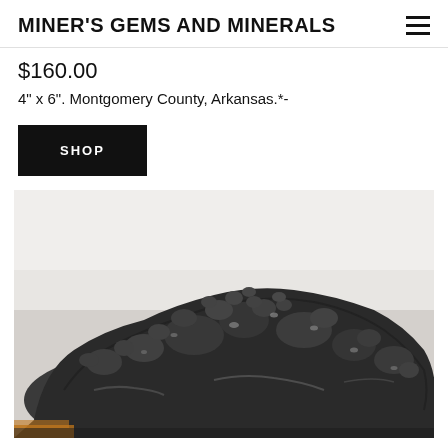MINER'S GEMS AND MINERALS
$160.00
4" x 6". Montgomery County, Arkansas.*-
SHOP
[Figure (photo): A dark grey metallic mineral specimen with rough, lumpy, glistening surface texture, photographed on a white background. The mineral appears to be a metalite ore or galena specimen from Montgomery County, Arkansas.]